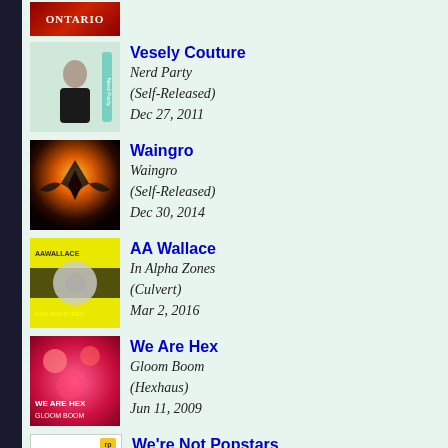[Figure (photo): Partial album art at top (Ontario related, red background)]
Vesely Couture — Nerd Party (Self-Released) Dec 27, 2011
Waingro — Waingro (Self-Released) Dec 30, 2014
AA Wallace — In Alpha Zones (Culvert) Mar 2, 2016
We Are Hex — Gloom Boom (Hexhaus) Jun 11, 2009
We're Not Popstars — We're Not Popstars (Self-Released) Apr 20, 2011